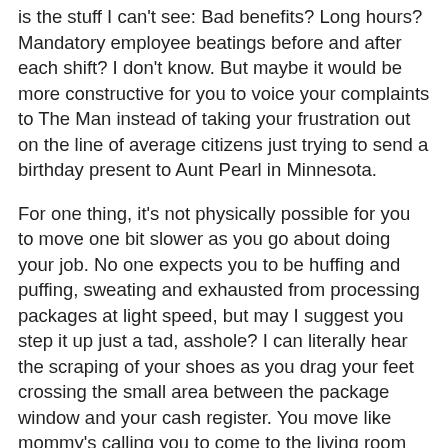is the stuff I can't see: Bad benefits? Long hours? Mandatory employee beatings before and after each shift? I don't know. But maybe it would be more constructive for you to voice your complaints to The Man instead of taking your frustration out on the line of average citizens just trying to send a birthday present to Aunt Pearl in Minnesota.
For one thing, it's not physically possible for you to move one bit slower as you go about doing your job. No one expects you to be huffing and puffing, sweating and exhausted from processing packages at light speed, but may I suggest you step it up just a tad, asshole? I can literally hear the scraping of your shoes as you drag your feet crossing the small area between the package window and your cash register. You move like mommy's calling you to come to the living room for a spanking. Now you appear to be straightening pens and idly shuffling through the stamps in the stamp drawer, emitting a long sigh for dramatic effect while I shift my heavy package on one hip and my infant on the other. The eyes of 15 people stare intently at you from the long line as you yawn and stretch and ask the employee next to you about her weekend. Finally, with another heavy sigh, you roll your